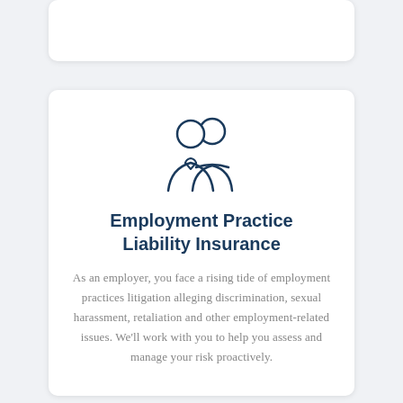[Figure (illustration): Two people silhouette icon (employer and employee figures) drawn in dark navy blue outline style]
Employment Practice Liability Insurance
As an employer, you face a rising tide of employment practices litigation alleging discrimination, sexual harassment, retaliation and other employment-related issues. We'll work with you to help you assess and manage your risk proactively.